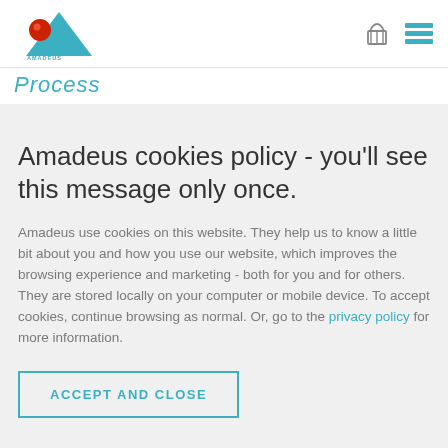[Figure (logo): Amadeus Software logo — red sphere with blue triangle and text 'AMADEUS SOFTWARE']
[Figure (other): Shopping basket icon and hamburger menu icon in top right corner]
Process
Amadeus cookies policy - you'll see this message only once.
Amadeus use cookies on this website. They help us to know a little bit about you and how you use our website, which improves the browsing experience and marketing - both for you and for others. They are stored locally on your computer or mobile device. To accept cookies, continue browsing as normal. Or, go to the privacy policy for more information.
ACCEPT AND CLOSE